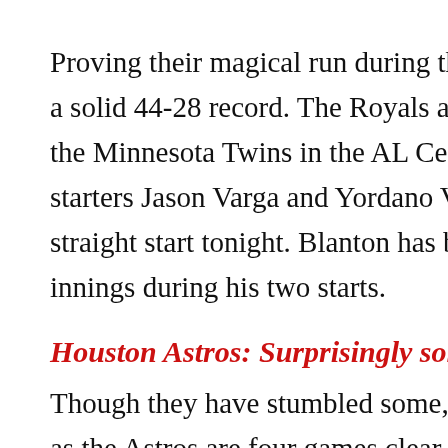Proving their magical run during the 2014 MLB season wasn't a flash in the pan, the Kansas City Royals have a solid 44-28 record. The Royals are on a 10-3 recent roll and they lead the Minnesota Twins in the AL Central division. Promoted from the rotation to fill in for starters Jason Varga and Yordano Ventura, RHP Joe Blanton (2-0) will make his third straight start tonight. Blanton has been solid, as he's allowed just four earned runs over 12 innings during his two starts.
Houston Astros: Surprisingly solid 'Stros continue to impress
Though they have stumbled some, with a 13-14 June record, Houston is still in solid shape as the Astros are four games clear of the Los Angeles Angels. Houston had a back-and-forth series with the New York Yankees on the weekend - winning two games by a 13-11 score while losing two by a 12-8 count. Rookie RHP Lance McCullers (0-1) has been carrying out a solid June as he is 2-2 and has given up just 10 earned runs over 33 innings during five starts this month.
Houston vs Kansas City Call: Mindful that we haven't reached the second half of the season, there will be a playoff feel in the Texas air when these two division leaders meet. Although an outright win by the Royals wouldn't surprise us - we are going to back the run line we are giving us here. Back Kansas City with a 500 unit wager on the run line.